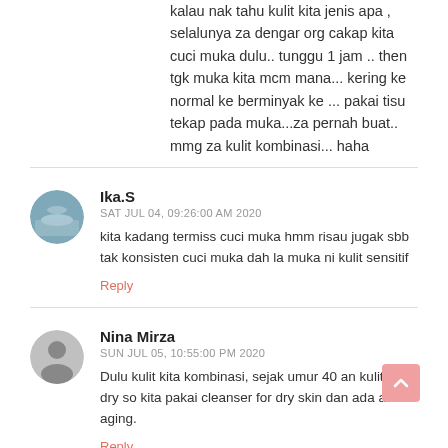kalau nak tahu kulit kita jenis apa , selalunya za dengar org cakap kita cuci muka dulu.. tunggu 1 jam .. then tgk muka kita mcm mana... kering ke normal ke berminyak ke ... pakai tisu tekap pada muka...za pernah buat.. mmg za kulit kombinasi... haha
Ika.S
SAT JUL 04, 09:26:00 AM 2020
kita kadang termiss cuci muka hmm risau jugak sbb tak konsisten cuci muka dah la muka ni kulit sensitif
Reply
Nina Mirza
SUN JUL 05, 10:55:00 PM 2020
Dulu kulit kita kombinasi, sejak umur 40 an kulit kita dry so kita pakai cleanser for dry skin dan ada anti-aging.
Reply